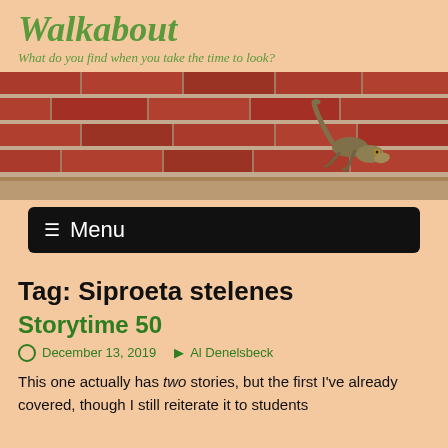Walkabout
What do you find when you take the time to look?
[Figure (photo): A lizard clinging to a red brick wall, viewed close-up from the side, with mortar visible between bricks.]
≡ Menu
Tag: Siproeta stelenes
Storytime 50
December 13, 2019   Al Denelsbeck
This one actually has two stories, but the first I've already covered, though I still reiterate it to students